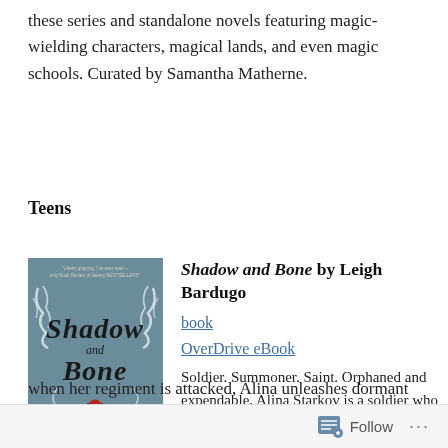these series and standalone novels featuring magic-wielding characters, magical lands, and even magic schools. Curated by Samantha Matherne.
Teens
[Figure (illustration): Book cover of Shadow and Bone by Leigh Bardugo. Dark teal/grey background with ornate black calligraphic lettering spelling 'Shadow and Bone', white swirling smoke/branch designs, red domed church towers at the bottom, and author name Leigh Bardugo with New York Times Bestseller text.]
Shadow and Bone by Leigh Bardugo
book
OverDrive eBook
Soldier. Summoner. Saint. Orphaned and expendable, Alina Starkov is a soldier who knows she may not survive her first trek across the Shadow Fold — a swath of unnatural darkness crawling with monsters. But when her regiment is attacked, Alina unleashes dormant
Follow ...